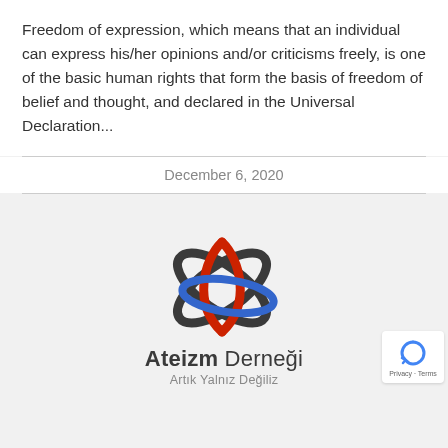Freedom of expression, which means that an individual can express his/her opinions and/or criticisms freely, is one of the basic human rights that form the basis of freedom of belief and thought, and declared in the Universal Declaration...
December 6, 2020
[Figure (logo): Ateizm Dernegi (Atheism Association) logo featuring an atom-style symbol with red, blue, and dark gray arcs, with bold text 'Ateizm Derneği' and tagline 'Artık Yalnız Değiliz']